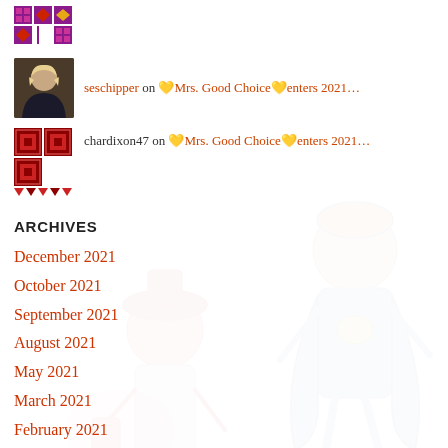[Figure (illustration): Purple/red decorative tile/quilt icon at the top left]
seschipper on 💛Mrs. Good Choice💛enters 2021…
[Figure (illustration): Red/maroon decorative quilt pattern icon]
chardixon47 on 💛Mrs. Good Choice💛enters 2021…
[Figure (illustration): Watermark cartoon characters (children in costumes) faded in background]
ARCHIVES
December 2021
October 2021
September 2021
August 2021
May 2021
March 2021
February 2021
December 2020
November 2020